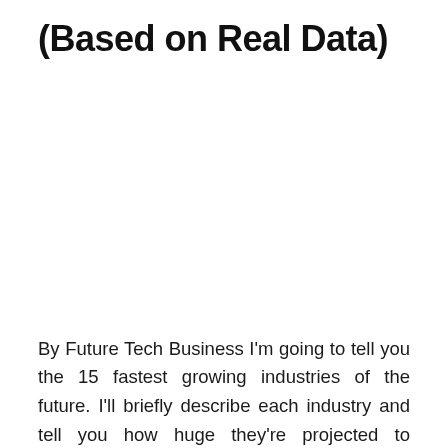(Based on Real Data)
By Future Tech Business I'm going to tell you the 15 fastest growing industries of the future. I'll briefly describe each industry and tell you how huge they're projected to become according to some reputable research companies. 1. Renewable